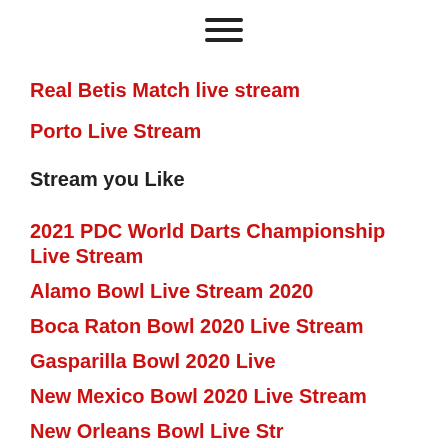[Figure (other): Hamburger menu icon (three horizontal lines)]
Real Betis Match live stream
Porto Live Stream
Stream you Like
2021 PDC World Darts Championship Live Stream
Alamo Bowl Live Stream 2020
Boca Raton Bowl 2020 Live Stream
Gasparilla Bowl 2020 Live
New Mexico Bowl 2020 Live Stream
New Orleans Bowl Live Stream